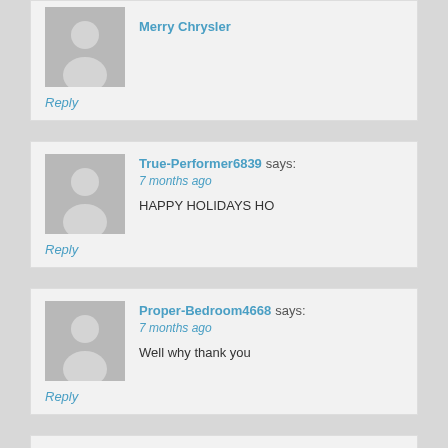Merry Chrysler
Reply
True-Performer6839 says: 7 months ago
HAPPY HOLIDAYS HO
Reply
Proper-Bedroom4668 says: 7 months ago
Well why thank you
Reply
MegaNate6789 says: